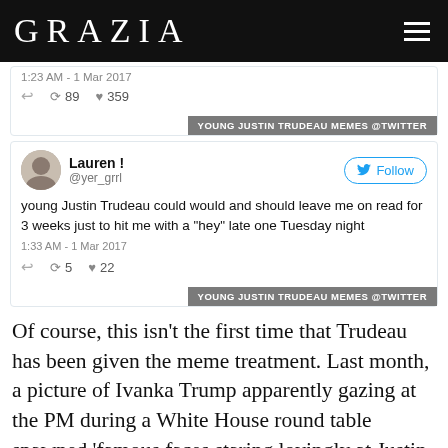GRAZIA
[Figure (screenshot): Partial tweet showing timestamp 1:23 AM - 1 Mar 2017, retweet count 89, like count 359, with Twitter label overlay 'YOUNG JUSTIN TRUDEAU MEMES @TWITTER']
[Figure (screenshot): Tweet by Lauren ! (@yer_grrl): 'young Justin Trudeau could would and should leave me on read for 3 weeks just to hit me with a "hey" late one Tuesday night' - 1:33 AM - 1 Mar 2017, retweets 5, likes 22. Label: 'YOUNG JUSTIN TRUDEAU MEMES @TWITTER']
Of course, this isn't the first time that Trudeau has been given the meme treatment. Last month, a picture of Ivanka Trump apparently gazing at the PM during a White House round table spawned 'famous faces staring lovingly at Justin Trudeau': photographic evidence that even the